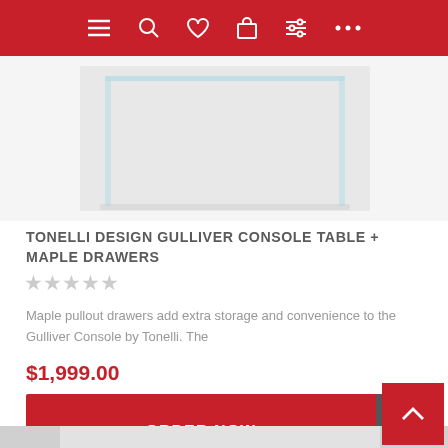Navigation bar with menu, search, wishlist, cart, filter, and more icons
[Figure (photo): Glass console table (Gulliver) with maple drawers on white background, cropped to show lower portion]
TONELLI DESIGN GULLIVER CONSOLE TABLE + MAPLE DRAWERS
★★★★★ (empty stars rating, 5 stars shown in light gray)
Maple pullout drawers add extra storage and convenience to the Gulliver Console by Tonelli. The
$1,999.00
ORDER NOW
[Figure (photo): Bottom portion of second product image, partially visible at page bottom]